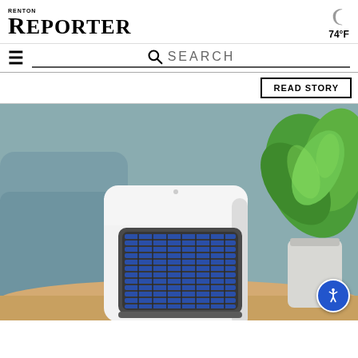Renton Reporter
74°F
SEARCH
READ STORY
[Figure (photo): A small white portable air cooler/condenser unit with a dark gray front grille showing blue fins, sitting on a light wood table. Behind it is a gray-blue sofa cushion on the left and a green leafy plant and a white ribbed vase on the right.]